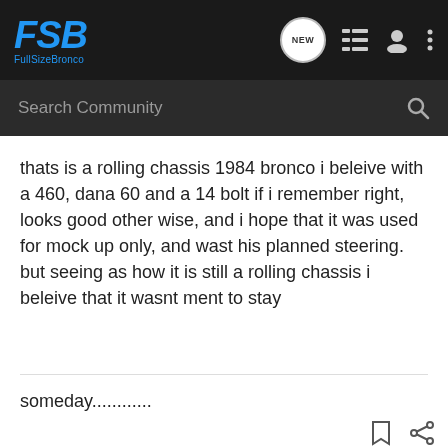FSB FullSizeBronco
thats is a rolling chassis 1984 bronco i beleive with a 460, dana 60 and a 14 bolt if i remember right, looks good other wise, and i hope that it was used for mock up only, and wast his planned steering. but seeing as how it is still a rolling chassis i beleive that it wasnt ment to stay
someday............
Damager · Premium Member
[Figure (screenshot): Advertisement banner for The New 2022 Silverado by Chevrolet with Explore button]